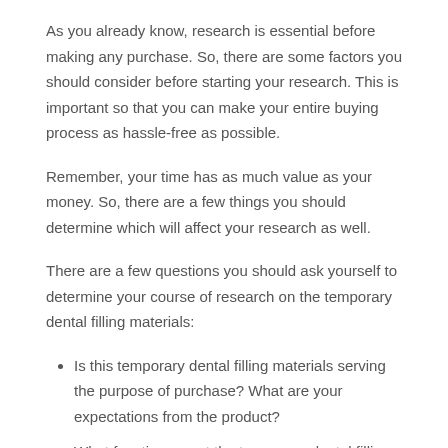As you already know, research is essential before making any purchase. So, there are some factors you should consider before starting your research. This is important so that you can make your entire buying process as hassle-free as possible.
Remember, your time has as much value as your money. So, there are a few things you should determine which will affect your research as well.
There are a few questions you should ask yourself to determine your course of research on the temporary dental filling materials:
Is this temporary dental filling materials serving the purpose of purchase? What are your expectations from the product?
What functions must the temporary dental filling materials have? Are there any specific functions that you are seeking in the product?
Is there a specific budget, or is the budget flexible?